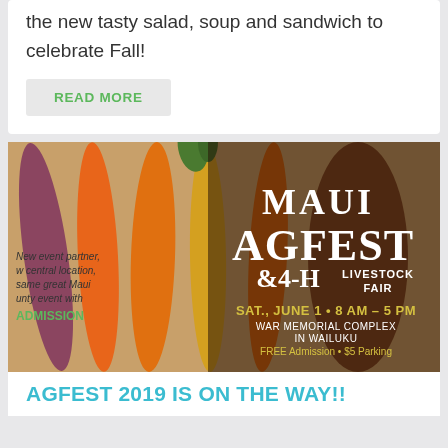the new tasty salad, soup and sandwich to celebrate Fall!
READ MORE
[Figure (photo): Maui AgFest & 4-H Livestock Fair promotional poster with colorful carrots in background. Text reads: MAUI AGFEST & 4-H LIVESTOCK FAIR. SAT., JUNE 1 • 8 AM – 5 PM. WAR MEMORIAL COMPLEX IN WAILUKU. FREE Admission • $5 Parking. New event partner, new central location, same great Maui County event with FREE ADMISSION.]
AGFEST 2019 IS ON THE WAY!!